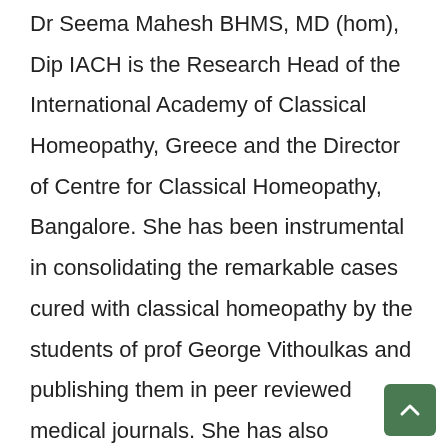Dr Seema Mahesh BHMS, MD (hom), Dip IACH is the Research Head of the International Academy of Classical Homeopathy, Greece and the Director of Centre for Classical Homeopathy, Bangalore. She has been instrumental in consolidating the remarkable cases cured with classical homeopathy by the students of prof George Vithoulkas and publishing them in peer reviewed medical journals. She has also presented the concepts of health and disease as taught by prof